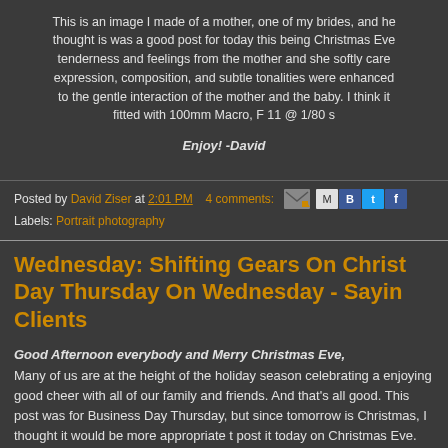This is an image I made of a mother, one of my brides, and he thought is was a good post for today this being Christmas Eve tenderness and feelings from the mother and she softly care expression, composition, and subtle tonalities were enhanced to the gentle interaction of the mother and the baby. I think it fitted with 100mm Macro, F 11 @ 1/80 s
Enjoy! -David
Posted by David Ziser at 2:01 PM   4 comments:
Labels: Portrait photography
Wednesday: Shifting Gears On Christ Day Thursday On Wednesday - Sayin Clients
Good Afternoon everybody and Merry Christmas Eve,
Many of us are at the height of the holiday season celebrating a enjoying good cheer with all of our family and friends. And that's all good. This post was for Business Day Thursday, but since tomorrow is Christmas, I thought it would be more appropriate t post it today on Christmas Eve.